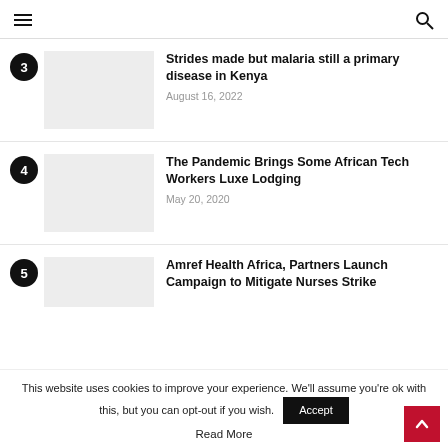Navigation header with hamburger menu and search icon
3. Strides made but malaria still a primary disease in Kenya — August 16, 2022
4. The Pandemic Brings Some African Tech Workers Luxe Lodging — May 20, 2020
5. Amref Health Africa, Partners Launch Campaign to Mitigate Nurses Strike
This website uses cookies to improve your experience. We'll assume you're ok with this, but you can opt-out if you wish.
Read More